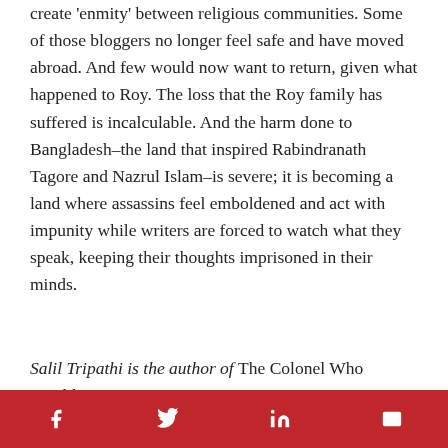create 'enmity' between religious communities. Some of those bloggers no longer feel safe and have moved abroad. And few would now want to return, given what happened to Roy. The loss that the Roy family has suffered is incalculable. And the harm done to Bangladesh–the land that inspired Rabindranath Tagore and Nazrul Islam–is severe; it is becoming a land where assassins feel emboldened and act with impunity while writers are forced to watch what they speak, keeping their thoughts imprisoned in their minds.
Salil Tripathi is the author of The Colonel Who Would Not Repent: The Bangladesh War and its Unquiet Legacy.
Share icons: Facebook, Twitter, LinkedIn, Email